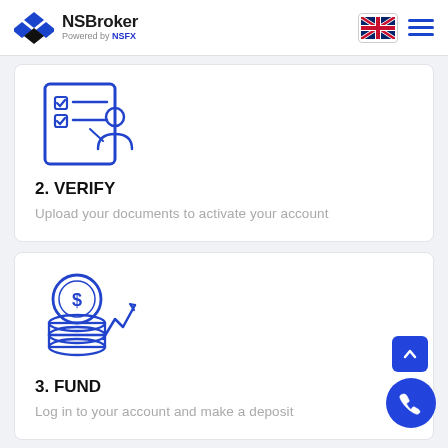NSBroker Powered by NSFX
[Figure (illustration): Blue line-art icon of a person at a form/checklist with checkboxes]
2. VERIFY
Upload your documents to activate your account
[Figure (illustration): Blue line-art icon of a dollar coin on stacks of money with an upward trend arrow]
3. FUND
Log in to your account and make a deposit